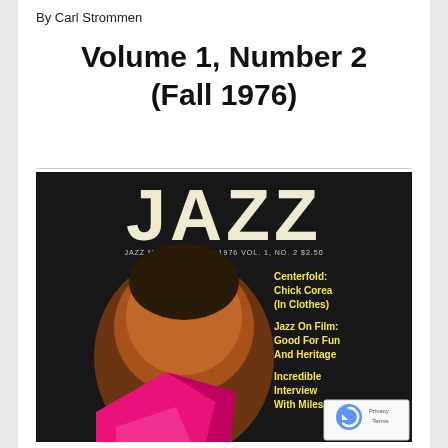By Carl Strommen
Volume 1, Number 2 (Fall 1976)
[Figure (photo): Cover of Jazz Magazine, Fall 1976, Vol. 1, No. 2. Dark background with large white 'JAZZ' text at top. Shows a close-up of a person's face/head. Right side has yellow text listing: Centerfold: Chick Corea (In Clothes); Jazz On Film: Good For Fun And Heritage; Incredible Interview With Miles. A hot pink/magenta geometric shape appears at bottom. Small reCAPTCHA widget visible in bottom-right corner.]